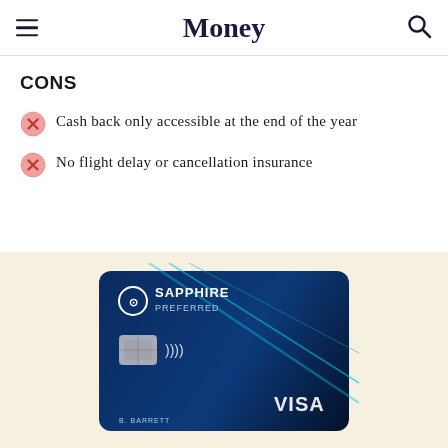Money
CONS
Cash back only accessible at the end of the year
No flight delay or cancellation insurance
[Figure (photo): Chase Sapphire Preferred credit card on a cream/beige background]